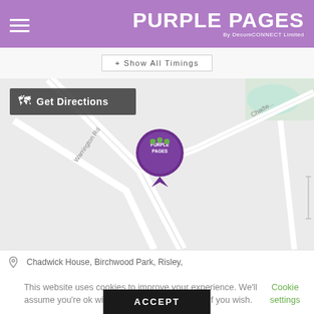PURPLE PAGES By DecomCONNECT Limited
+ Show All Timings
[Figure (map): Street map showing location pin with Purple Pages logo near Chadwick House, Birchwood Park, Risley. Includes a 'Get Directions' overlay button in top-left corner of map.]
Chadwick House, Birchwood Park, Risley,
This website uses cookies to improve your experience. We'll assume you're ok with this, but you can opt-out if you wish. Cookie settings
ACCEPT